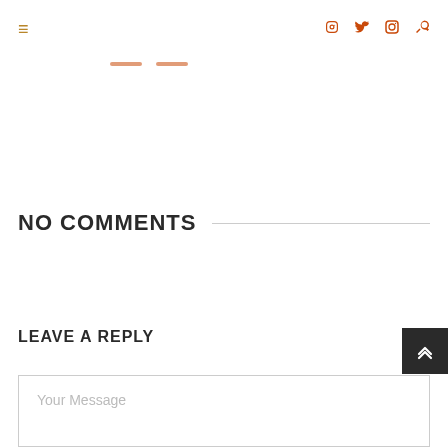≡  f  🐦  📷  🔍
NO COMMENTS
LEAVE A REPLY
Your Message